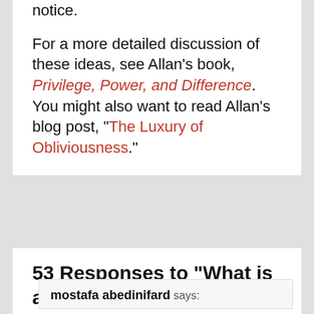notice.

For a more detailed discussion of these ideas, see Allan's book, Privilege, Power, and Difference. You might also want to read Allan's blog post, “The Luxury of Obliviousness.”
53 Responses to "What is a ‘system of privilege’?"
mostafa abedinifard says: